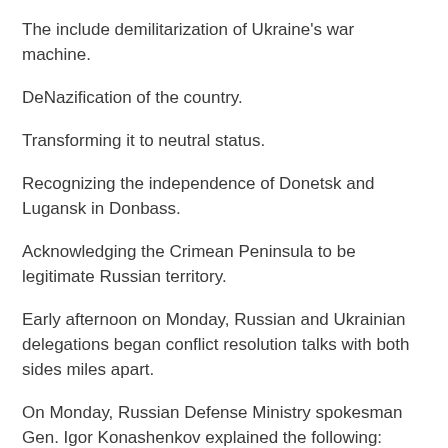The include demilitarization of Ukraine's war machine.
DeNazification of the country.
Transforming it to neutral status.
Recognizing the independence of Donetsk and Lugansk in Donbass.
Acknowledging the Crimean Peninsula to be legitimate Russian territory.
Early afternoon on Monday, Russian and Ukrainian delegations began conflict resolution talks with both sides miles apart.
On Monday, Russian Defense Ministry spokesman Gen. Igor Konashenkov explained the following: